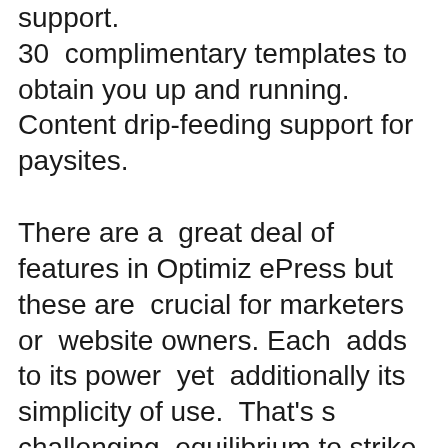support.
30  complimentary templates to  obtain you up and running.
Content drip-feeding support for paysites.
There are a  great deal of features in OptimizePress but these are  crucial for marketers or  website owners. Each  adds to its power  yet  additionally its  simplicity of use.  That's s challenging  equilibrium to strike  and also w e think this plugin gets it.
Live Editor is a real  advantage  and also we'll go into it a  bit  extra  soon. The  capability to  incorporate membership  websites on the  other side of your landing page is an  possibility that's  as well good to miss. As is the  ca